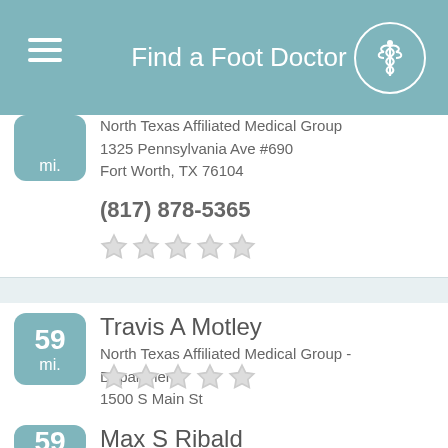Find a Foot Doctor
North Texas Affiliated Medical Group
1325 Pennsylvania Ave #690
Fort Worth, TX 76104
(817) 878-5365
Travis A Motley
North Texas Affiliated Medical Group - Department
1500 S Main St
Fort Worth, TX 76104
Max S Ribald
1001 12th Ave #134